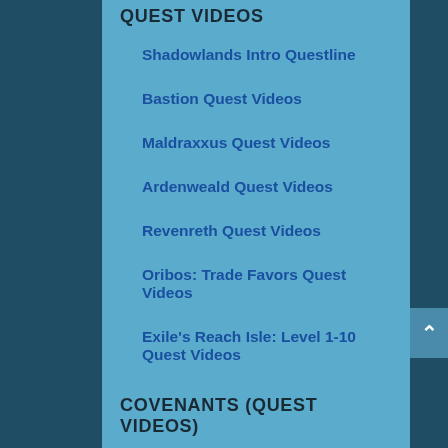QUEST VIDEOS
Shadowlands Intro Questline
Bastion Quest Videos
Maldraxxus Quest Videos
Ardenweald Quest Videos
Revenreth Quest Videos
Oribos: Trade Favors Quest Videos
Exile's Reach Isle: Level 1-10 Quest Videos
COVENANTS (QUEST VIDEOS)
Night Fae Quest Videos